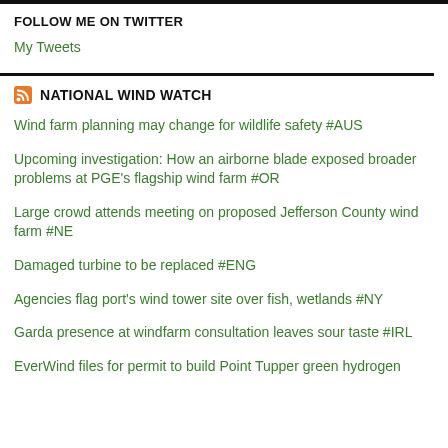FOLLOW ME ON TWITTER
My Tweets
NATIONAL WIND WATCH
Wind farm planning may change for wildlife safety #AUS
Upcoming investigation: How an airborne blade exposed broader problems at PGE's flagship wind farm #OR
Large crowd attends meeting on proposed Jefferson County wind farm #NE
Damaged turbine to be replaced #ENG
Agencies flag port's wind tower site over fish, wetlands #NY
Garda presence at windfarm consultation leaves sour taste #IRL
EverWind files for permit to build Point Tupper green hydrogen